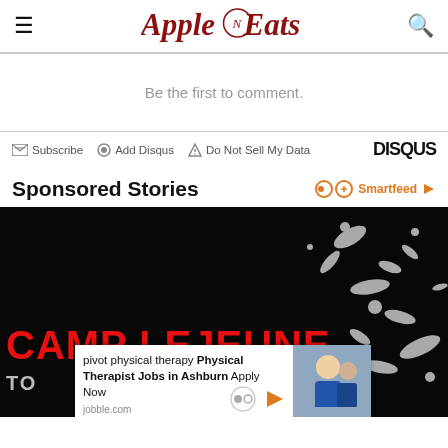Apple N Eats — navigation header with hamburger menu and search icon
Be the first to comment.
Subscribe  Add Disqus  Do Not Sell My Data   DISQUS
Sponsored Stories
[Figure (screenshot): Camp Lejeune dark promotional image with red text 'CAMP LEJEUNE' and lighter text 'TO' partially visible, with white splatter/splash elements on black background. An overlay popup ad reads 'pivot physical therapy Physical Therapist Jobs in Ashburn Apply Now' from jobble.com, with a photo of smiling healthcare workers on the right.]